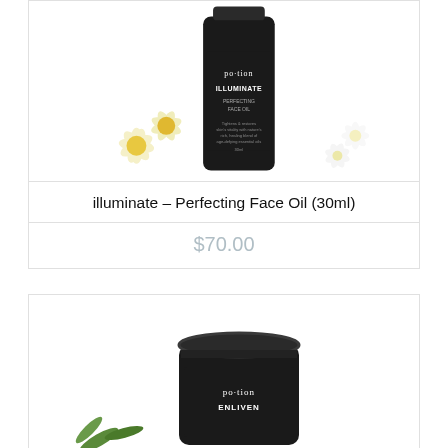[Figure (photo): Black bottle of po·tion ILLUMINATE Perfecting Face Oil 30ml with chamomile and jasmine flowers around the base]
illuminate – Perfecting Face Oil (30ml)
$70.00
[Figure (photo): Black jar of po·tion ENLIVEN product with green herbs/leaves around the base, partially shown]